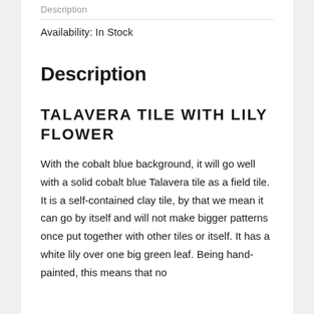Description
Availability: In Stock
Description
TALAVERA TILE WITH LILY FLOWER
With the cobalt blue background, it will go well with a solid cobalt blue Talavera tile as a field tile. It is a self-contained clay tile, by that we mean it can go by itself and will not make bigger patterns once put together with other tiles or itself. It has a white lily over one big green leaf. Being hand-painted, this means that no